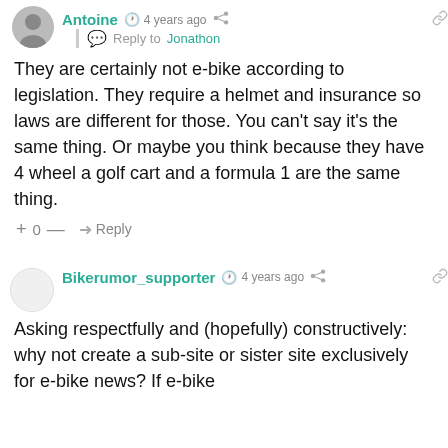Antoine · 4 years ago · Reply to Jonathon
They are certainly not e-bike according to legislation. They require a helmet and insurance so laws are different for those. You can't say it's the same thing. Or maybe you think because they have 4 wheel a golf cart and a formula 1 are the same thing.
+ 0 — Reply
Bikerumor_supporter · 4 years ago
Asking respectfully and (hopefully) constructively: why not create a sub-site or sister site exclusively for e-bike news? If e-bike